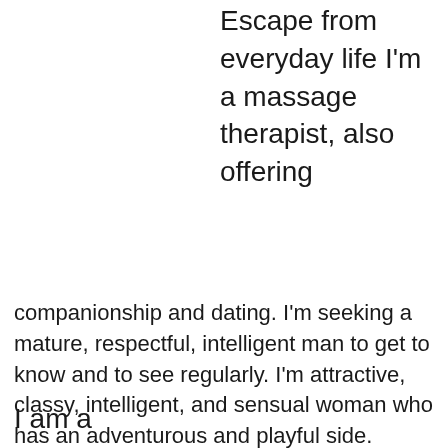Escape from everyday life I'm a massage therapist, also offering
companionship and dating. I'm seeking a mature, respectful, intelligent man to get to know and to see regularly. I'm attractive, classy, intelligent, and sensual woman who has an adventurous and playful side.
I am a massage